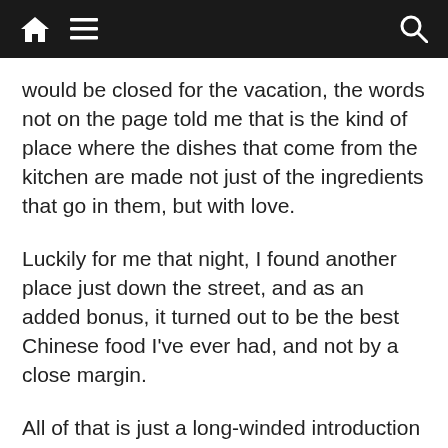[Navigation bar with home, menu, and search icons]
would be closed for the vacation, the words not on the page told me that is the kind of place where the dishes that come from the kitchen are made not just of the ingredients that go in them, but with love.
Luckily for me that night, I found another place just down the street, and as an added bonus, it turned out to be the best Chinese food I've ever had, and not by a close margin.
All of that is just a long-winded introduction to what I'm trying to say.
Like that restaurant, The Fernley Reporter may wind up being closed for a few days, albeit, not for a vacation, but there are two parallels between that